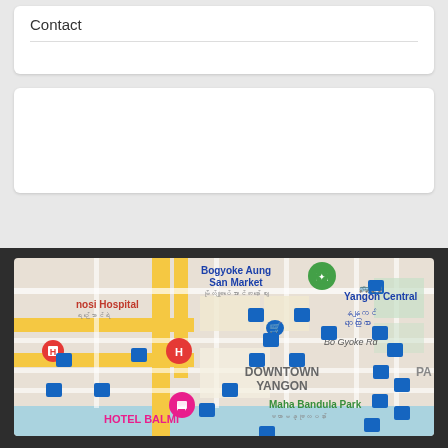Contact
[Figure (map): Google Maps view of Downtown Yangon, Myanmar showing Bogyoke Aung San Market, Hotel Balmi, Yangon Central, Maha Bandula Park, and various bus stop icons (blue squares) and location pins.]